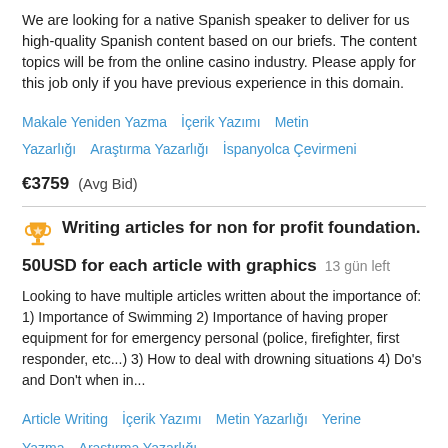We are looking for a native Spanish speaker to deliver for us high-quality Spanish content based on our briefs. The content topics will be from the online casino industry. Please apply for this job only if you have previous experience in this domain.
Makale Yeniden Yazma   İçerik Yazımı   Metin Yazarlığı   Araştırma Yazarlığı   İspanyolca Çevirmeni
€3759  (Avg Bid)
Writing articles for non for profit foundation. 50USD for each article with graphics  13 gün left
Looking to have multiple articles written about the importance of: 1) Importance of Swimming 2) Importance of having proper equipment for for emergency personal (police, firefighter, first responder, etc...) 3) How to deal with drowning situations 4) Do's and Don't when in...
Article Writing   İçerik Yazımı   Metin Yazarlığı   Yerine Yazma   Araştırma Yazarlığı